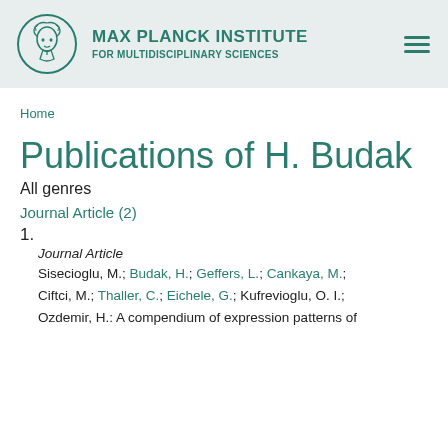[Figure (logo): Max Planck Institute for Multidisciplinary Sciences logo with circular emblem of Minerva and institute name]
Home
Publications of H. Budak
All genres
Journal Article (2)
1.
Journal Article
Sisecioglu, M.; Budak, H.; Geffers, L.; Cankaya, M.; Ciftci, M.; Thaller, C.; Eichele, G.; Kufrevioglu, O. I.; Ozdemir, H.: A compendium of expression patterns of